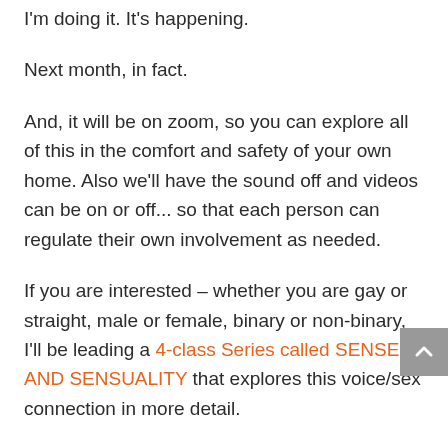I'm doing it. It's happening.

Next month, in fact.

And, it will be on zoom, so you can explore all of this in the comfort and safety of your own home. Also we'll have the sound off and videos can be on or off... so that each person can regulate their own involvement as needed.

If you are interested – whether you are gay or straight, male or female, binary or non-binary, I'll be leading a 4-class Series called SENSE AND SENSUALITY that explores this voice/sex connection in more detail.

Check it out here: thesingingself.com/events